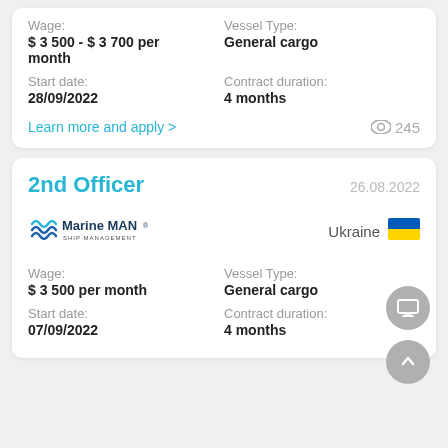Wage:
$ 3 500 - $ 3 700 per month
Vessel Type:
General cargo
Start date:
28/09/2022
Contract duration:
4 months
Learn more and apply >
245
2nd Officer
26.08.2022
[Figure (logo): Marine MAN Ship Management company logo with wave symbol]
Ukraine
[Figure (other): Ukrainian flag - blue and yellow horizontal stripes]
Wage:
$ 3 500 per month
Vessel Type:
General cargo
Start date:
07/09/2022
Contract duration:
4 months